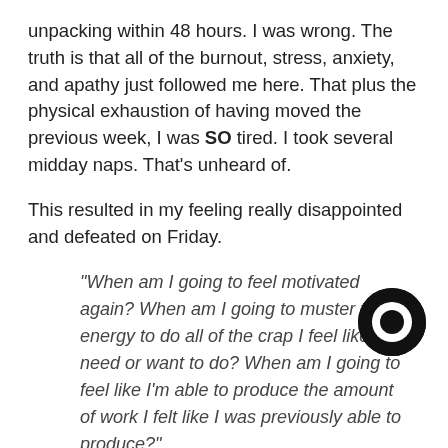unpacking within 48 hours. I was wrong. The truth is that all of the burnout, stress, anxiety, and apathy just followed me here. That plus the physical exhaustion of having moved the previous week, I was SO tired. I took several midday naps. That's unheard of.
This resulted in my feeling really disappointed and defeated on Friday.
"When am I going to feel motivated again? When am I going to muster the energy to do all of the crap I feel like I need or want to do? When am I going to feel like I'm able to produce the amount of work I felt like I was previously able to produce?"
It was a lot.
So I did virtually nothing over the weekend. I took